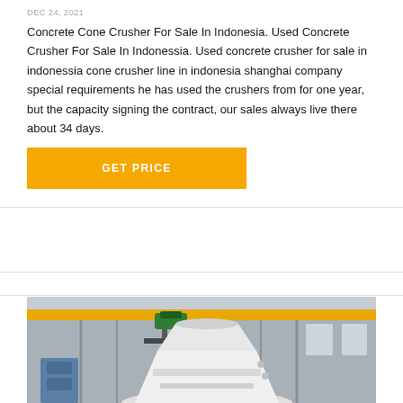DEC 24, 2021
Concrete Cone Crusher For Sale In Indonesia. Used Concrete Crusher For Sale In Indonessia. Used concrete crusher for sale in indonessia cone crusher line in indonesia shanghai company special requirements he has used the crushers from for one year, but the capacity signing the contract, our sales always live there about 34 days.
[Figure (other): Orange GET PRICE button]
[Figure (photo): Industrial factory interior with overhead crane, large white cylindrical cone crusher equipment, structural steel columns, yellow overhead beams, and red chain hoist]